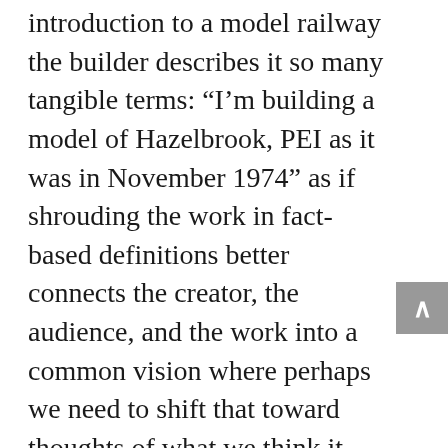introduction to a model railway the builder describes it so many tangible terms: “I’m building a model of Hazelbrook, PEI as it was in November 1974” as if shrouding the work in fact-based definitions better connects the creator, the audience, and the work into a common vision where perhaps we need to shift that toward thoughts of what we think it would feel like to be there and on that day? Maybe it’s more along the lines of “I’m trying to create something that communicates how I feel when I think of…”?
Is it important that when I look at it I see, in my work, something that takes me to that place?